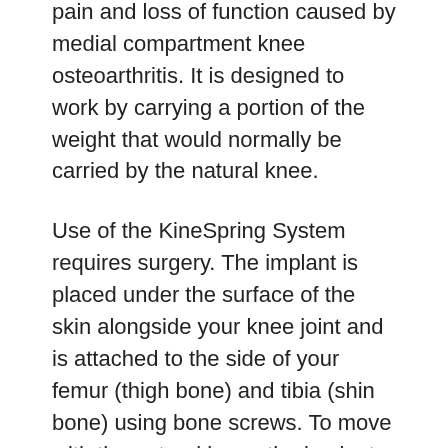pain and loss of function caused by medial compartment knee osteoarthritis. It is designed to work by carrying a portion of the weight that would normally be carried by the natural knee.
Use of the KineSpring System requires surgery. The implant is placed under the surface of the skin alongside your knee joint and is attached to the side of your femur (thigh bone) and tibia (shin bone) using bone screws. To move with the natural knee, the implant has two ball and socket joints, one on the femoral and one on the tibial side. A spring placed between the ball and socket joints causes some of the weight in your knee to be transferred to the implant when the spring is compressed.